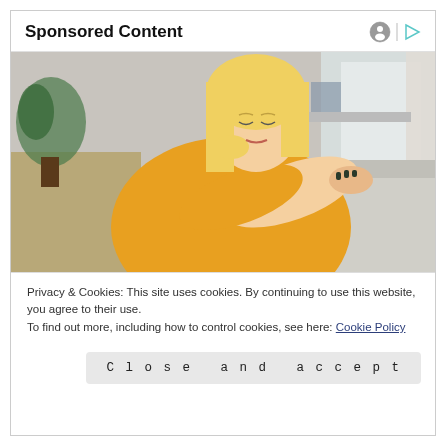Sponsored Content
[Figure (photo): A blonde woman in a yellow knit sweater sitting on a sofa, looking down and scratching or examining her inner wrist/arm. Indoor setting with plants and cushions in the background.]
Privacy & Cookies: This site uses cookies. By continuing to use this website, you agree to their use.
To find out more, including how to control cookies, see here: Cookie Policy
Close and accept